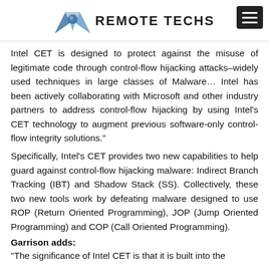REMOTE TECHS
Intel CET is designed to protect against the misuse of legitimate code through control-flow hijacking attacks–widely used techniques in large classes of Malware… Intel has been actively collaborating with Microsoft and other industry partners to address control-flow hijacking by using Intel's CET technology to augment previous software-only control-flow integrity solutions."
Specifically, Intel's CET provides two new capabilities to help guard against control-flow hijacking malware: Indirect Branch Tracking (IBT) and Shadow Stack (SS). Collectively, these two new tools work by defeating malware designed to use ROP (Return Oriented Programming), JOP (Jump Oriented Programming) and COP (Call Oriented Programming).
Garrison adds:
“The significance of Intel CET is that it is built into the